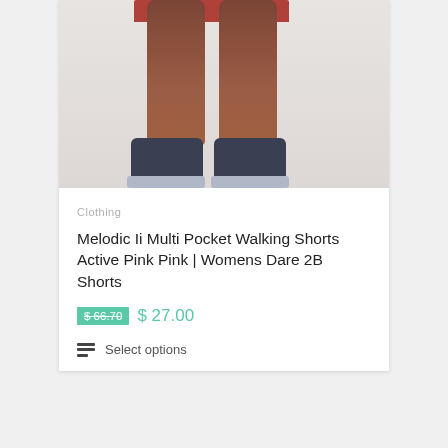[Figure (photo): Product photo showing lower body of a woman wearing Active Pink walking shorts with dark navy sneakers against a light grey background]
Clothing
Melodic Ii Multi Pocket Walking Shorts Active Pink Pink | Womens Dare 2B Shorts
$ 66.70  $ 27.00
Select options